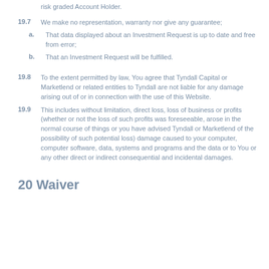risk graded Account Holder.
19.7  We make no representation, warranty nor give any guarantee;
a.  That data displayed about an Investment Request is up to date and free from error;
b.  That an Investment Request will be fulfilled.
19.8  To the extent permitted by law, You agree that Tyndall Capital or Marketlend or related entities to Tyndall are not liable for any damage arising out of or in connection with the use of this Website.
19.9  This includes without limitation, direct loss, loss of business or profits (whether or not the loss of such profits was foreseeable, arose in the normal course of things or you have advised Tyndall or Marketlend of the possibility of such potential loss) damage caused to your computer, computer software, data, systems and programs and the data or to You or any other direct or indirect consequential and incidental damages.
20  Waiver